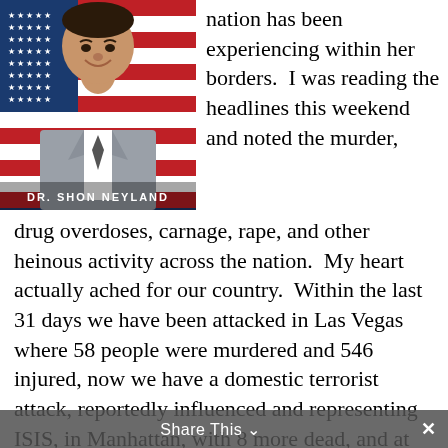[Figure (photo): Photo of Dr. Shon Neyland, a man in a suit smiling, with an American flag background. Text overlay reads 'DR. SHON NEYLAND'.]
nation has been experiencing within her borders.  I was reading the headlines this weekend and noted the murder, drug overdoses, carnage, rape, and other heinous activity across the nation.  My heart actually ached for our country.  Within the last 31 days we have been attacked in Las Vegas where 58 people were murdered and 546 injured, now we have a domestic terrorist attack, reportedly influenced and representing ISIS, in Manhattan, with 8 more dead, and at least 13 injured.  In the end, it really is Americans killing Americans, albeit some become radicalized by ISIS or other terrorist threats.  In the Manhattan incident, not all who were killed were Americans, in fact it is reported that only two were Americans, yet lives were taken needlessly.  As I write this blog there are reports of a
Share This ∨  ✕